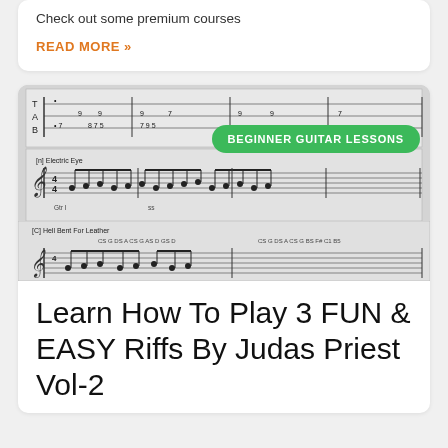Check out some premium courses
READ MORE »
[Figure (illustration): Sheet music / guitar tablature notation showing multiple musical pieces including Electric Eye and Hell Bent For Leather by Judas Priest, with a green badge overlay reading BEGINNER GUITAR LESSONS]
Learn How To Play 3 FUN & EASY Riffs By Judas Priest Vol-2